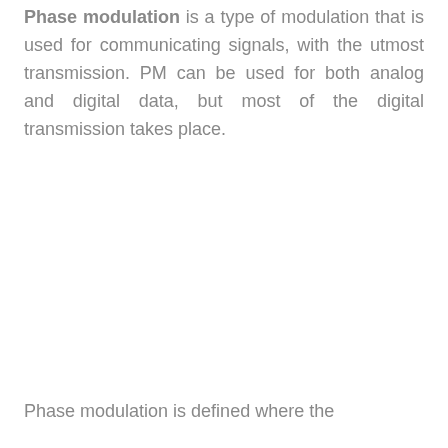Phase modulation is a type of modulation that is used for communicating signals, with the utmost transmission. PM can be used for both analog and digital data, but most of the digital transmission takes place.
Phase modulation is defined where the